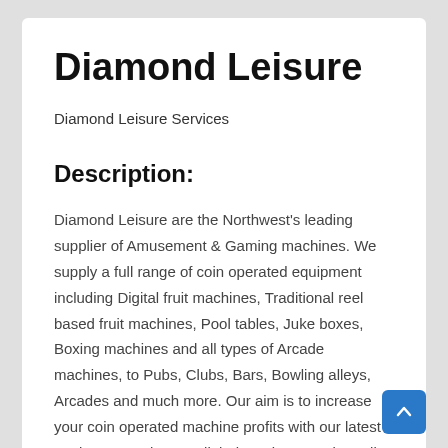Diamond Leisure
Diamond Leisure Services
Description:
Diamond Leisure are the Northwest’s leading supplier of Amusement & Gaming machines. We supply a full range of coin operated equipment including Digital fruit machines, Traditional reel based fruit machines, Pool tables, Juke boxes, Boxing machines and all types of Arcade machines, to Pubs, Clubs, Bars, Bowling alleys, Arcades and much more. Our aim is to increase your coin operated machine profits with our latest equipment and unparalleled service attention. All machines and equipment can be hired, rented or free